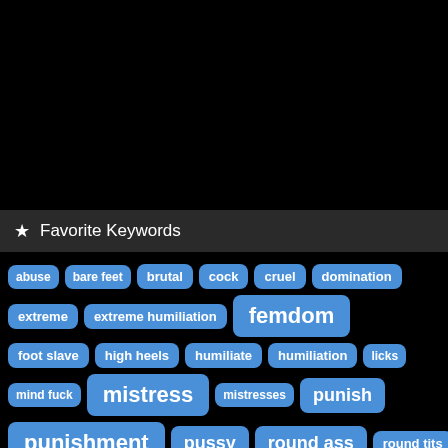★ Favorite Keywords
abuse
bare feet
brutal
cock
cruel
domination
extreme
extreme humiliation
femdom
foot slave
high heels
humiliate
humiliation
licks
mind fuck
mistress
mistresses
punish
punishment
pussy
round ass
round tits
sexy